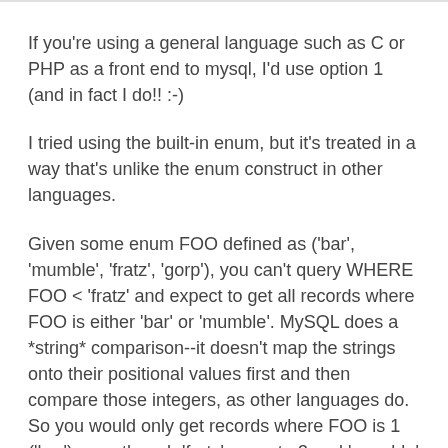If you're using a general language such as C or PHP as a front end to mysql, I'd use option 1 (and in fact I do!! :-)
I tried using the built-in enum, but it's treated in a way that's unlike the enum construct in other languages.
Given some enum FOO defined as ('bar', 'mumble', 'fratz', 'gorp'), you can't query WHERE FOO < 'fratz' and expect to get all records where FOO is either 'bar' or 'mumble'. MySQL does a *string* comparison--it doesn't map the strings onto their positional values first and then compare those integers, as other languages do. So you would only get records where FOO is 1 ('bar') even though 'fratz' maps to 3 and 'mumble' maps to 2.
It's a very strange and, to me, unsatisfactory way to do things.